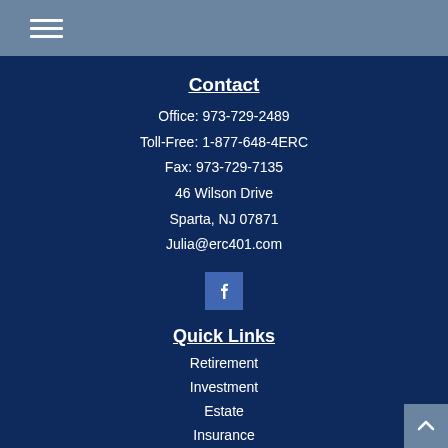Navigation menu (hamburger icon)
Contact
Office: 973-729-2489
Toll-Free: 1-877-648-4ERC
Fax: 973-729-7135
46 Wilson Drive
Spartа, NJ 07871
Julia@erc401.com
[Figure (logo): Facebook icon button]
Quick Links
Retirement
Investment
Estate
Insurance
Tax
Money
Lifestyle